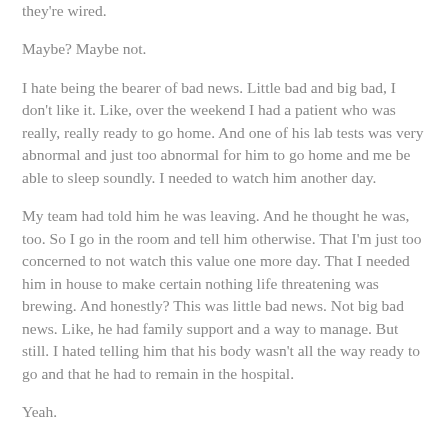they're wired.
Maybe? Maybe not.
I hate being the bearer of bad news. Little bad and big bad, I don't like it. Like, over the weekend I had a patient who was really, really ready to go home. And one of his lab tests was very abnormal and just too abnormal for him to go home and me be able to sleep soundly. I needed to watch him another day.
My team had told him he was leaving. And he thought he was, too. So I go in the room and tell him otherwise. That I'm just too concerned to not watch this value one more day. That I needed him in house to make certain nothing life threatening was brewing. And honestly? This was little bad news. Not big bad news. Like, he had family support and a way to manage. But still. I hated telling him that his body wasn't all the way ready to go and that he had to remain in the hospital.
Yeah.